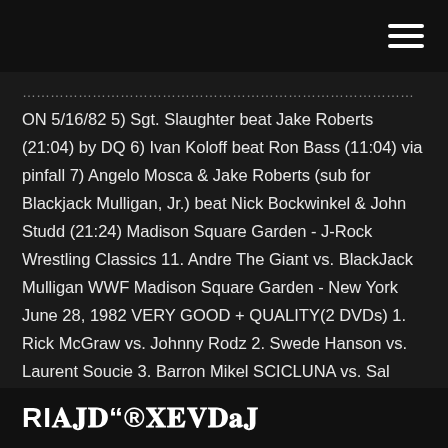[hamburger menu icon]
ON 5/16/82 5) Sgt. Slaughter beat Jake Roberts (21:04) by DQ 6) Ivan Koloff beat Ron Bass (11:04) via pinfall 7) Angelo Mosca & Jake Roberts (sub for Blackjack Mulligan, Jr.) beat Nick Bockwinkel & John Studd (21:24) Madison Square Garden - J-Rock Wrestling Classics 11. Andre The Giant vs. BlackJack Mulligan WWF Madison Square Garden - New York June 28, 1982 VERY GOOD + QUALITY(2 DVDs) 1. Rick McGraw vs. Johnny Rodz 2. Swede Hanson vs. Laurent Soucie 3. Barron Mikel SCICLUNA vs. Sal Bellomo 4. Pedro Morales vs. Cowboy Bob Orton 5. BlackJack Mulligan vs. S.D. Jones 6. Steve Travis vs. Charlie Fulton 7. WikiZero - Sgt. Slaughter
RI…